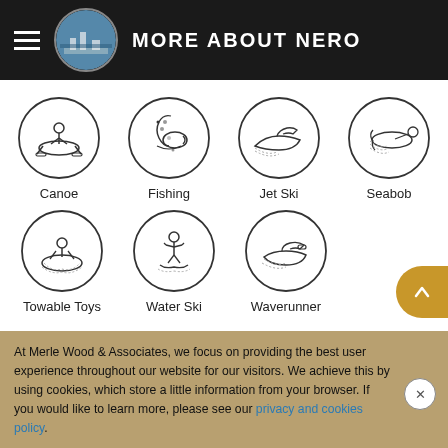MORE ABOUT NERO
[Figure (infographic): Six water activity icons in two rows: Canoe, Fishing, Jet Ski, Seabob (top row), Towable Toys, Water Ski, Waverunner (bottom row). Each icon is a line-art drawing inside a circle.]
At Merle Wood & Associates, we focus on providing the best user experience throughout our website for our visitors. We achieve this by using cookies, which store a little information from your browser. If you would like to learn more, please see our privacy and cookies policy.